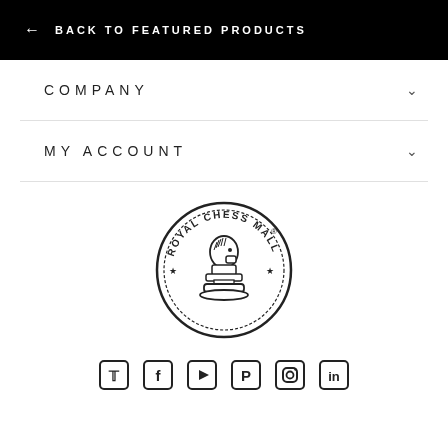← BACK TO FEATURED PRODUCTS
COMPANY
MY ACCOUNT
[Figure (logo): Royal Chess Mall circular logo with chess knight piece in center]
[Figure (infographic): Social media icons: Twitter, Facebook, YouTube, Pinterest, Instagram, LinkedIn]